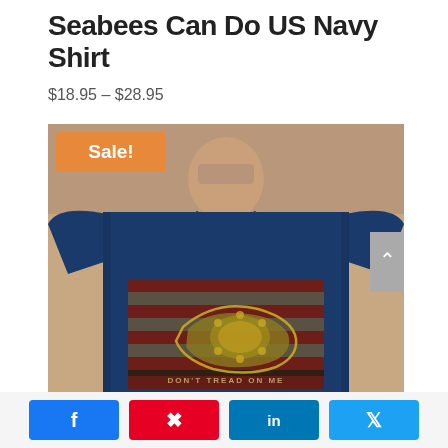Seabees Can Do US Navy Shirt
$18.95 – $28.95
[Figure (photo): Man wearing a navy blue t-shirt with a distressed US Navy Seabees flag graphic on the chest. The shirt features a vintage-style flag with red and white stripes and text reading 'DON'T TREAD ON ME'. An orange 'Sale!' badge appears in the top left corner of the product image.]
Share on Facebook | Share on Pinterest | Share on LinkedIn | Share on Twitter